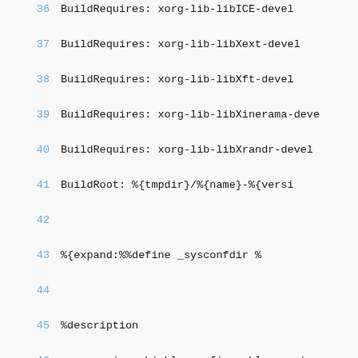36    BuildRequires:   xorg-lib-libICE-devel
37    BuildRequires:   xorg-lib-libXext-devel
38    BuildRequires:   xorg-lib-libXft-devel
39    BuildRequires:   xorg-lib-libXinerama-devel
40    BuildRequires:   xorg-lib-libXrandr-devel
41    BuildRoot:       %{tmpdir}/%{name}-%{versi
42
43    %{expand:%%define       _sysconfdir    %
44
45    %description
46    awesome is a highly configurable, next ge
47    manager for X. It is very fast, light and
48    targeted at power user, developer and any
49    day computing tasks and want to have fine
50    graphical environment.
51